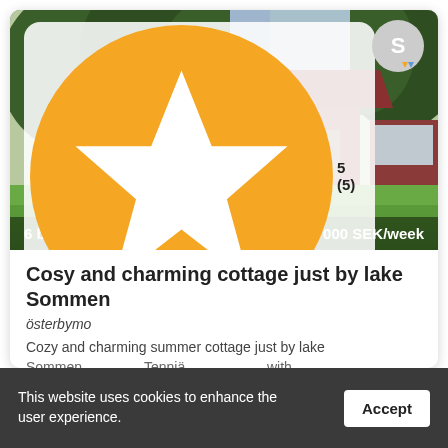[Figure (photo): Exterior photo of a red Swedish summer cottage with white windows, surrounded by green lawn and trees. Shows a typical Scandinavian holiday home with a sloping tiled roof.]
⭐ 5 (5)
6 beds
7000 SEK/week
Cosy and charming cottage just by lake Sommen
österbymo
Cozy and charming summer cottage just by lake Sommen...
This website uses cookies to enhance the user experience.